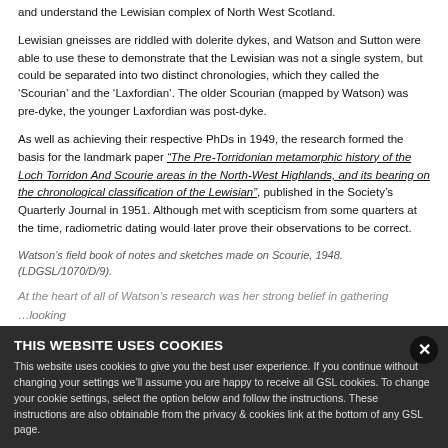and understand the Lewisian complex of North West Scotland.
Lewisian gneisses are riddled with dolerite dykes, and Watson and Sutton were able to use these to demonstrate that the Lewisian was not a single system, but could be separated into two distinct chronologies, which they called the ‘Scourian’ and the ‘Laxfordian’. The older Scourian (mapped by Watson) was pre-dyke, the younger Laxfordian was post-dyke.
As well as achieving their respective PhDs in 1949, the research formed the basis for the landmark paper “The Pre-Torridonian metamorphic history of the Loch Torridon And Scourie areas in the North-West Highlands, and its bearing on the chronological classification of the Lewisian”, published in the Society’s Quarterly Journal in 1951. Although met with scepticism from some quarters at the time, radiometric dating would later prove their observations to be correct.
Watson’s field book of notes and sketches made on Scourie, 1948. (LDGSL/1070/D/9).
At the heart of all of Watson’s research was her strong belief in gathering…
Outer Hebrides >>
Find out more
THIS WEBSITE USES COOKIES
This website uses cookies to give you the best user experience. If you continue without changing your settings we’ll assume you are happy to receive all GSL cookies. To change your cookie settings, select the option below and follow the instructions. These instructions are also obtainable from the privacy & cookies link at the bottom of any GSL page.